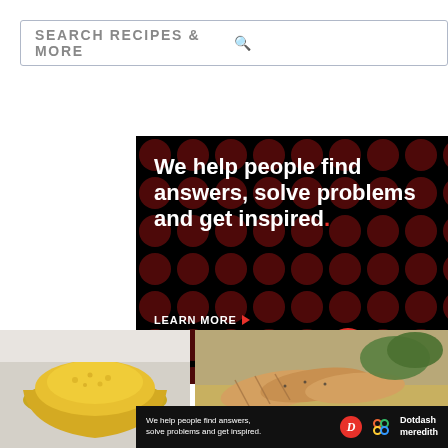[Figure (screenshot): Search bar with text SEARCH RECIPES & MORE and a magnifying glass icon]
[Figure (infographic): Black background ad banner with dark red polka dots. White bold text reads: We help people find answers, solve problems and get inspired. with a red period. LEARN MORE with red arrow. Dotdash D logo in red circle and colorful knot/meredith logo.]
[Figure (photo): Yellow saffron or turmeric rice in a yellow bowl on a white surface]
[Figure (photo): Sliced grilled or roasted chicken breast on a bed of rice with greens]
[Figure (infographic): Bottom ad banner: black background, white text We help people find answers, solve problems and get inspired. with Dotdash D logo and colorful Meredith knot logo, and Dotdash meredith text]